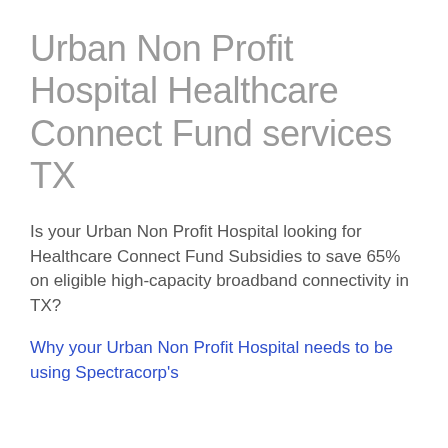Urban Non Profit Hospital Healthcare Connect Fund services TX
Is your Urban Non Profit Hospital looking for Healthcare Connect Fund Subsidies to save 65% on eligible high-capacity broadband connectivity in TX?
Why your Urban Non Profit Hospital needs to be using Spectracorp's